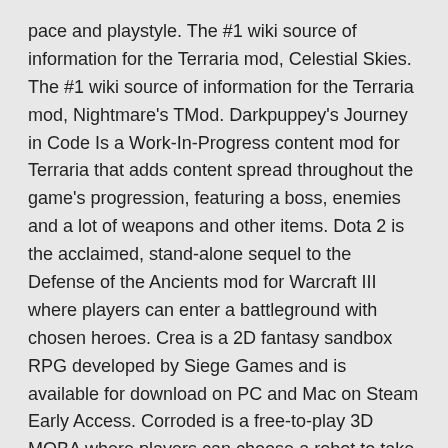pace and playstyle. The #1 wiki source of information for the Terraria mod, Celestial Skies. The #1 wiki source of information for the Terraria mod, Nightmare's TMod. Darkpuppey's Journey in Code Is a Work-In-Progress content mod for Terraria that adds content spread throughout the game's progression, featuring a boss, enemies and a lot of weapons and other items. Dota 2 is the acclaimed, stand-alone sequel to the Defense of the Ancients mod for Warcraft III where players can enter a battleground with chosen heroes. Crea is a 2D fantasy sandbox RPG developed by Siege Games and is available for download on PC and Mac on Steam Early Access. Corroded is a free-to-play 3D MOBA where players can choose a robot to take into battle and try to shove opponents out of a shrinking arena.
Hi there, I'm the developer of this mod, currently I won't be able to work on this